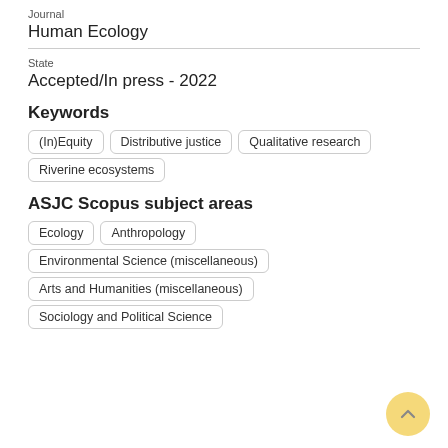Journal
Human Ecology
State
Accepted/In press - 2022
Keywords
(In)Equity
Distributive justice
Qualitative research
Riverine ecosystems
ASJC Scopus subject areas
Ecology
Anthropology
Environmental Science (miscellaneous)
Arts and Humanities (miscellaneous)
Sociology and Political Science